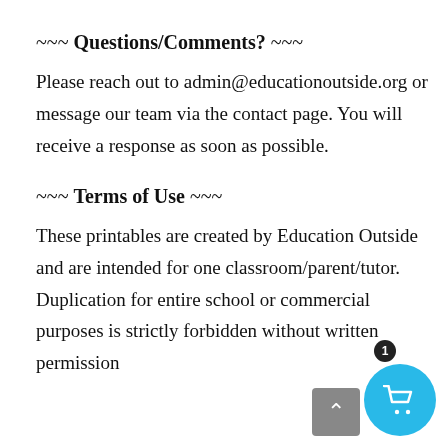~~~ Questions/Comments? ~~~
Please reach out to admin@educationoutside.org or message our team via the contact page. You will receive a response as soon as possible.
~~~ Terms of Use ~~~
These printables are created by Education Outside and are intended for one classroom/parent/tutor. Duplication for entire school or commercial purposes is strictly forbidden without written permission